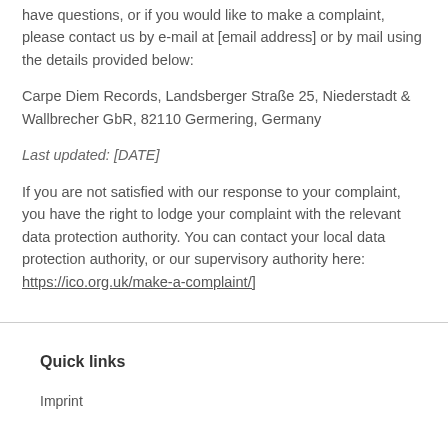have questions, or if you would like to make a complaint, please contact us by e-mail at [email address] or by mail using the details provided below:
Carpe Diem Records, Landsberger Straße 25, Niederstadt & Wallbrecher GbR, 82110 Germering, Germany
Last updated: [DATE]
If you are not satisfied with our response to your complaint, you have the right to lodge your complaint with the relevant data protection authority. You can contact your local data protection authority, or our supervisory authority here: https://ico.org.uk/make-a-complaint/]
Quick links
Imprint